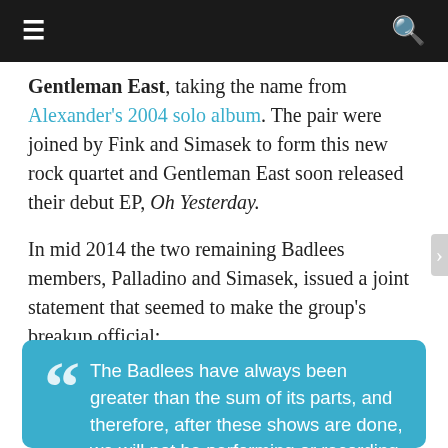☰  🔍
Gentleman East, taking the name from Alexander's 2004 solo album. The pair were joined by Fink and Simasek to form this new rock quartet and Gentleman East soon released their debut EP, Oh Yesterday.
In mid 2014 the two remaining Badlees members, Palladino and Simasek, issued a joint statement that seemed to make the group's breakup official;
The Badlees have always been greater than the sum of its parts, and therefore, after these shows are done, we will not be performing or recording as 'The Badlees' for the foreseeable future. We want to honor the legacy of 'The Badlees' and we feel that this is the